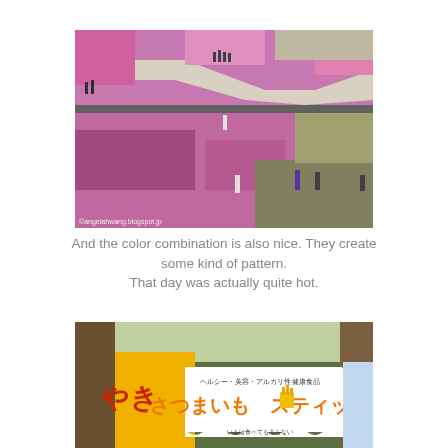[Figure (photo): Aerial view of colorful flower fields with pink and green rows, people walking along paths. Watermark: ©angelahwang.blogspot.jp]
And the color combination is also nice. They create some kind of pattern.
That day was actually quite hot.
[Figure (photo): Japanese food stall banners with colorful Japanese text advertising roasted sweet potato sticks (さつまいもスティック), yellow and white tent banners in a forested area.]